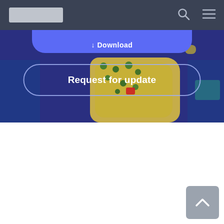Navigation bar with logo, search icon, and menu icon
[Figure (screenshot): Website screenshot showing a dark blue game page with a partially visible 'Download' button at the top, a 'Request for update' outlined button below it, and a pixel-art game map image in the background. The lower half is a white content area. A grey back-to-top arrow button is in the bottom right corner.]